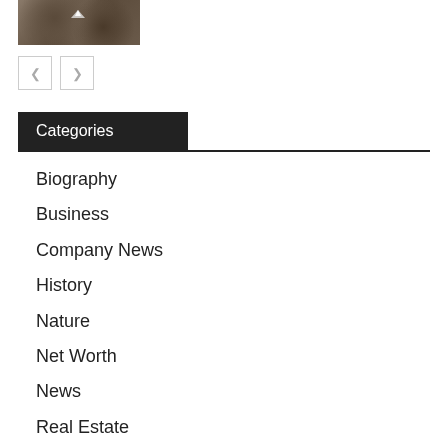[Figure (photo): Partial image of a bird or animal on ground with brown/dark soil and leaf litter]
[Figure (other): Navigation buttons: left arrow and right arrow pagination controls]
Categories
Biography
Business
Company News
History
Nature
Net Worth
News
Real Estate
Space
Travel